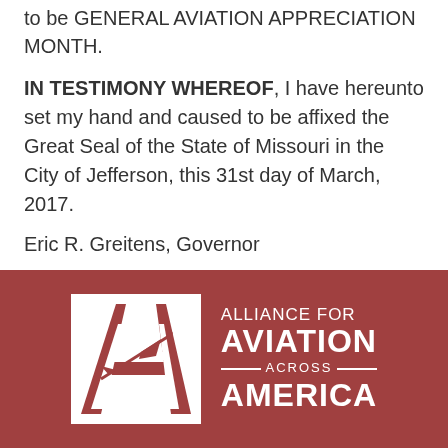to be GENERAL AVIATION APPRECIATION MONTH.
IN TESTIMONY WHEREOF, I have hereunto set my hand and caused to be affixed the Great Seal of the State of Missouri in the City of Jefferson, this 31st day of March, 2017.
Eric R. Greitens, Governor
Attest: Jay Ashcroft, Secretary of State
http://www.aea.net/newsitem.asp?ID=855
[Figure (logo): Alliance for Aviation Across America logo — white stylized letter A with an aircraft, on a dark red/brown background, with text ALLIANCE FOR AVIATION ACROSS AMERICA in white.]